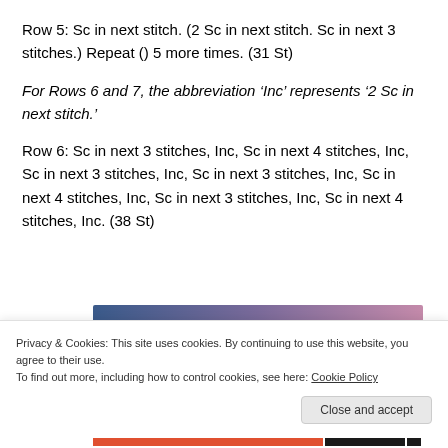Row 5: Sc in next stitch. (2 Sc in next stitch. Sc in next 3 stitches.) Repeat () 5 more times. (31 St)
For Rows 6 and 7, the abbreviation ‘Inc’ represents ‘2 Sc in next stitch.’
Row 6: Sc in next 3 stitches, Inc, Sc in next 4 stitches, Inc, Sc in next 3 stitches, Inc, Sc in next 3 stitches, Inc, Sc in next 4 stitches, Inc, Sc in next 3 stitches, Inc, Sc in next 4 stitches, Inc. (38 St)
[Figure (other): Gradient color bar ranging from dark blue on the left to pink/mauve on the right]
Privacy & Cookies: This site uses cookies. By continuing to use this website, you agree to their use.
To find out more, including how to control cookies, see here: Cookie Policy
Close and accept